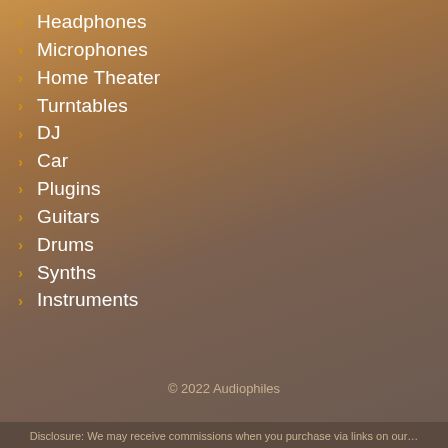Headphones
Microphones
Home Theater
Turntables
DJ
Car
Plugins
Guitars
Drums
Synths
Instruments
© 2022 Audiophiles
Disclosure: We may receive commissions when you purchase via links on our…